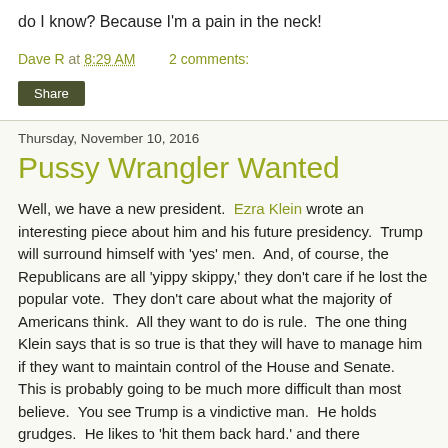do I know?  Because I'm a pain in the neck!
Dave R at 8:29 AM    2 comments:
Share
Thursday, November 10, 2016
Pussy Wrangler Wanted
Well, we have a new president.  Ezra Klein wrote an interesting piece about him and his future presidency.  Trump will surround himself with 'yes' men.  And, of course, the Republicans are all 'yippy skippy,' they don't care if he lost the popular vote.  They don't care about what the majority of Americans think.  All they want to do is rule.  The one thing Klein says that is so true is that they will have to manage him if they want to maintain control of the House and Senate.  This is probably going to be much more difficult than most believe.  You see Trump is a vindictive man.  He holds grudges.  He likes to 'hit them back hard.' and there